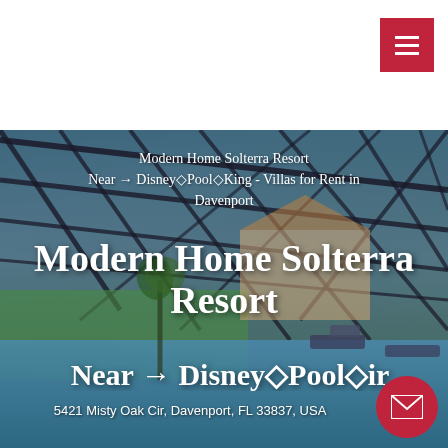[Figure (photo): Background photo of a screened pool enclosure with lattice roof, blue sky, pool water, lounge chairs, and tropical landscaping at a resort property]
Modern Home Solterra Resort Near → Disney◇Pool◇King - Villas for Rent in Davenport
Modern Home Solterra Resort
Near → Disney◇Pool◇ir
5421 Misty Oak Cir, Davenport, FL 33837, USA